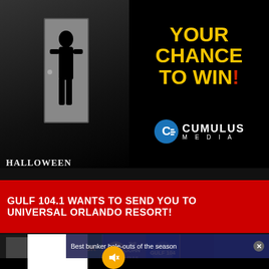[Figure (photo): Halloween movie promotional banner with dark silhouette figure and HALLOWEEN text, combined with Cumulus Media 'YOUR CHANCE TO WIN!' promotion]
GULF 104.1 WANTS TO SEND YOU TO UNIVERSAL ORLANDO RESORT!
[Figure (screenshot): Thumbnail strip of various Gulf 104 radio show images and promotional content]
Best bunker hole-outs of the season